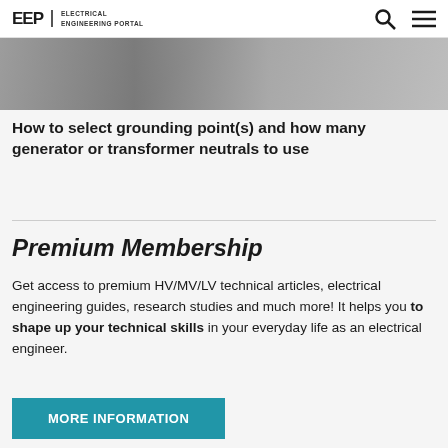EEP | ELECTRICAL ENGINEERING PORTAL
[Figure (photo): Partial view of electrical engineering related photo at top of page]
How to select grounding point(s) and how many generator or transformer neutrals to use
Premium Membership
Get access to premium HV/MV/LV technical articles, electrical engineering guides, research studies and much more! It helps you to shape up your technical skills in your everyday life as an electrical engineer.
MORE INFORMATION